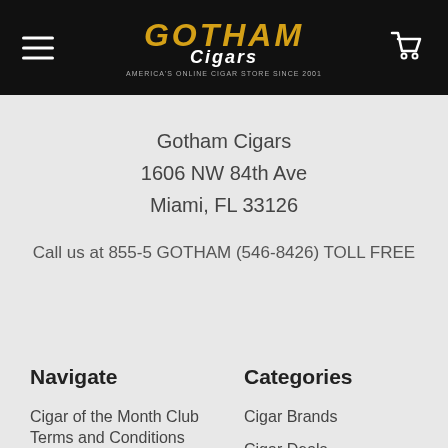Gotham Cigars — AMERICA'S ONLINE CIGAR STORE SINCE 2001
Gotham Cigars
1606 NW 84th Ave
Miami, FL 33126
Call us at 855-5 GOTHAM (546-8426) TOLL FREE
Navigate
Cigar of the Month Club
Terms and Conditions
About Us
Security Policy
Categories
Cigar Brands
Cigar Deals
Cigars
Cigar Accessories